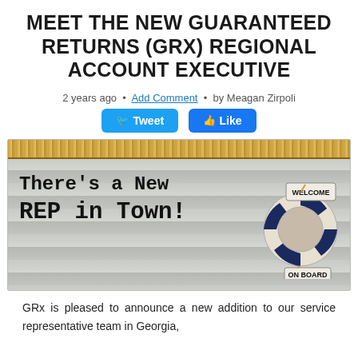MEET THE NEW GUARANTEED RETURNS (GRx) REGIONAL ACCOUNT EXECUTIVE
2 years ago • Add Comment • by Meagan Zirpoli
[Figure (infographic): Banner image with rope at top border, wood plank background, text 'There's a New REP in Town!' in large serif/monospace font on the left, and a life preserver ring on the right with 'WELCOME' and 'ON BOARD' text on it.]
GRx is pleased to announce a new addition to our service representative team in Georgia,